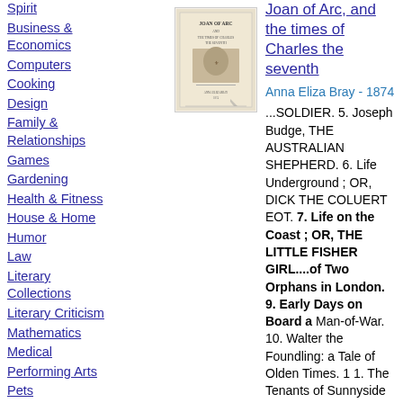Spirit
Business & Economics
Computers
Cooking
Design
Family & Relationships
Games
Gardening
Health & Fitness
House & Home
Humor
Law
Literary Collections
Literary Criticism
Mathematics
Medical
Performing Arts
Pets
Philosophy
Photography
Poetry
Joan of Arc, and the times of Charles the seventh
Anna Eliza Bray - 1874
...SOLDIER. 5. Joseph Budge, THE AUSTRALIAN SHEPHERD. 6. Life Underground ; OR, DICK THE COLUERT EOT. 7. Life on the Coast ; OR, THE LITTLE FISHER GIRL....of Two Orphans in London. 9. Early Days on Board a Man-of-War. 10. Walter the Foundling: a Tale of Olden Times. 1 1. The Tenants of Sunnyside Farm. 12....
[Figure (illustration): Small book cover image for Joan of Arc]